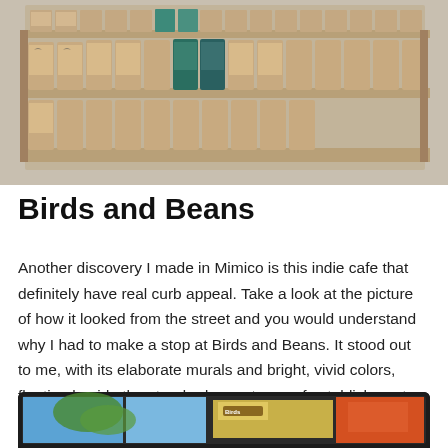[Figure (photo): Photo of coffee/tea bags arranged on wooden shelves, various labeled bags with bird imagery]
Birds and Beans
Another discovery I made in Mimico is this indie cafe that definitely have real curb appeal. Take a look at the picture of how it looked from the street and you would understand why I had to make a stop at Birds and Beans. It stood out to me, with its elaborate murals and bright, vivid colors, floating beside the standard monotones of establishments right beside it. It somehow captured my imagination, the cafe promising me loads of character.
[Figure (photo): Bottom portion of a photo showing the exterior of Birds and Beans cafe with colorful murals, inside a dark-bordered frame/device]